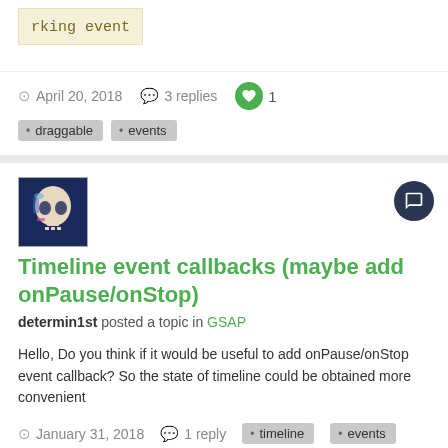[Figure (screenshot): Partial screenshot showing 'rking event' text in monospace on light yellow background]
April 20, 2018   3 replies   1
draggable   events
Timeline event callbacks (maybe add onPause/onStop)
determin1st posted a topic in GSAP
Hello, Do you think if it would be useful to add onPause/onStop event callback? So the state of timeline could be obtained more convenient
January 31, 2018   1 reply   timeline   events
[Figure (photo): Partial purple avatar image at bottom of page]